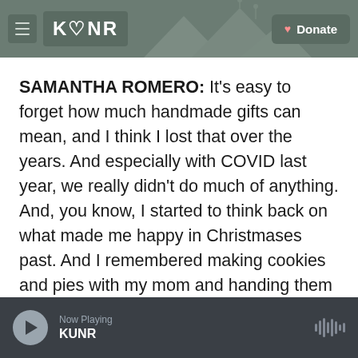KUNR — Donate
SAMANTHA ROMERO: It's easy to forget how much handmade gifts can mean, and I think I lost that over the years. And especially with COVID last year, we really didn't do much of anything. And, you know, I started to think back on what made me happy in Christmases past. And I remembered making cookies and pies with my mom and handing them out to neighbors and friends, and that seemed to mean more than anything to me.
SELYUKH: So her advice is, if you are still not sure what to get someone yet today, make them
Now Playing KUNR